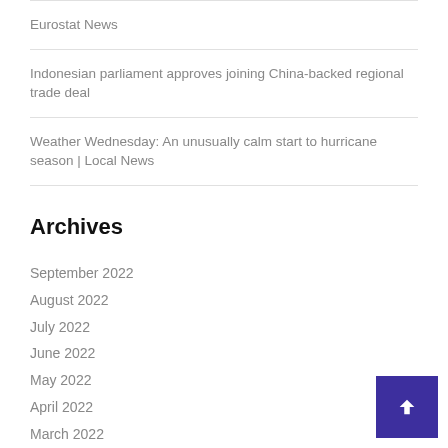Eurostat News
Indonesian parliament approves joining China-backed regional trade deal
Weather Wednesday: An unusually calm start to hurricane season | Local News
Archives
September 2022
August 2022
July 2022
June 2022
May 2022
April 2022
March 2022
February 2022
January 2022
December 2021